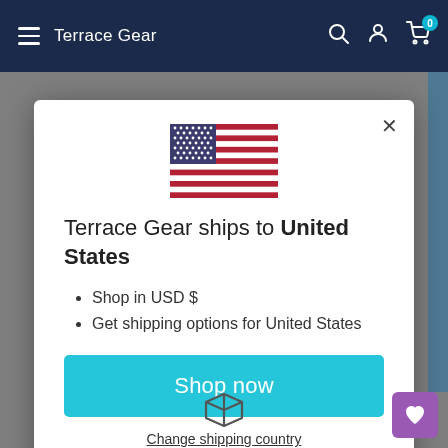Terrace Gear
[Figure (screenshot): US flag icon displayed at top center of modal]
Terrace Gear ships to United States
Shop in USD $
Get shipping options for United States
Shop now
Change shipping country